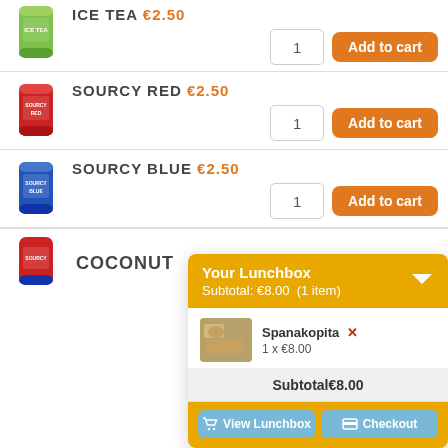ICE TEA €2.50
1
Add to cart
SOURCY RED €2.50
1
Add to cart
SOURCY BLUE €2.50
1
Add to cart
COCONUT
[Figure (screenshot): Lunchbox popup showing: Your Lunchbox, Subtotal: €8.00 (1 item), Spanakopita 1x€8.00, Subtotal€8.00, View Lunchbox and Checkout buttons]